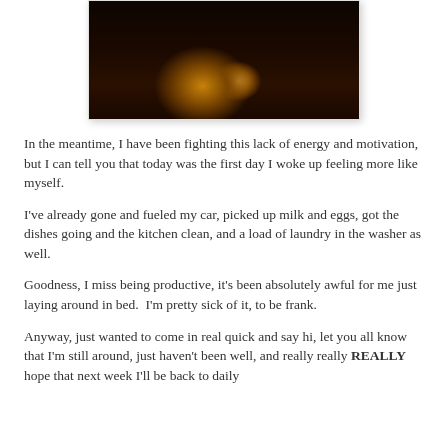[Figure (photo): Dark interior room photo with warm candlelight glow, plants silhouetted against dim amber light, bookshelf visible on right side]
In the meantime, I have been fighting this lack of energy and motivation, but I can tell you that today was the first day I woke up feeling more like myself.
I've already gone and fueled my car, picked up milk and eggs, got the dishes going and the kitchen clean, and a load of laundry in the washer as well.
Goodness, I miss being productive, it's been absolutely awful for me just laying around in bed.  I'm pretty sick of it, to be frank.
Anyway, just wanted to come in real quick and say hi, let you all know that I'm still around, just haven't been well, and really really REALLY hope that next week I'll be back to daily